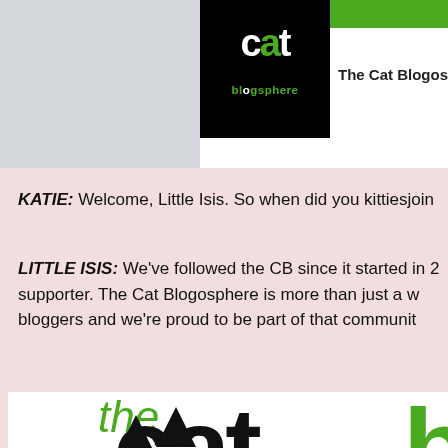[Figure (logo): The Cat Blogosphere logo - black square with 'cat' in white bold text and 'blogosphere' in green below, with green bar at top. Site title 'The Cat Blogosphere' to the right.]
KATIE: Welcome, Little Isis. So when did you kitties join
LITTLE ISIS: We've followed the CB since it started in 2... supporter. The Cat Blogosphere is more than just a w... bloggers and we're proud to be part of that communit...
[Figure (logo): Large The Cat Blogosphere logo showing 'the' in green handwritten script, 'cat' in large black bold display font with cat ear silhouette, and 'blo' in large green bold text, partially cropped.]